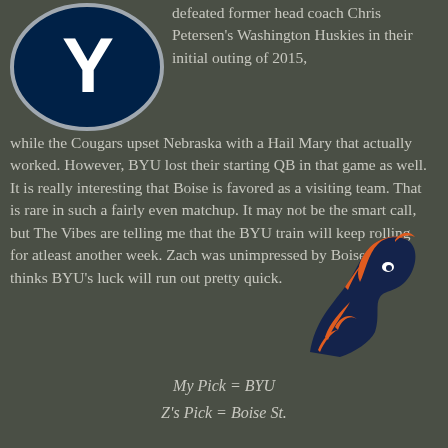[Figure (logo): BYU Cougars logo — white Y on dark navy oval with silver border]
defeated former head coach Chris Petersen's Washington Huskies in their initial outing of 2015, while the Cougars upset Nebraska with a Hail Mary that actually worked. However, BYU lost their starting QB in that game as well. It is really interesting that Boise is favored as a visiting team. That is rare in such a fairly even matchup. It may not be the smart call, but The Vibes are telling me that the BYU train will keep rolling for atleast another week. Zach was unimpressed by Boise St. but thinks BYU's luck will run out pretty quick.
[Figure (logo): Boise State Broncos logo — orange horse head on dark blue background]
My Pick = BYU
Z's Pick = Boise St.